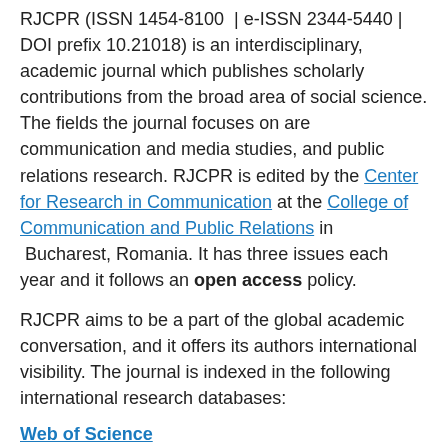RJCPR (ISSN 1454-8100 | e-ISSN 2344-5440 | DOI prefix 10.21018) is an interdisciplinary, academic journal which publishes scholarly contributions from the broad area of social science. The fields the journal focuses on are communication and media studies, and public relations research. RJCPR is edited by the Center for Research in Communication at the College of Communication and Public Relations in Bucharest, Romania. It has three issues each year and it follows an open access policy.
RJCPR aims to be a part of the global academic conversation, and it offers its authors international visibility. The journal is indexed in the following international research databases:
Web of Science
ESCI, Scopus, EBSCO, ProQuest, DOAJ, CEEOL, CNKI, ERIH Plus, Index Copernicus, ROAD, Cabell's, and Genamics Journal Seek. The language of publication is English. RJCPR is included in the B+ category, according to the ranking system